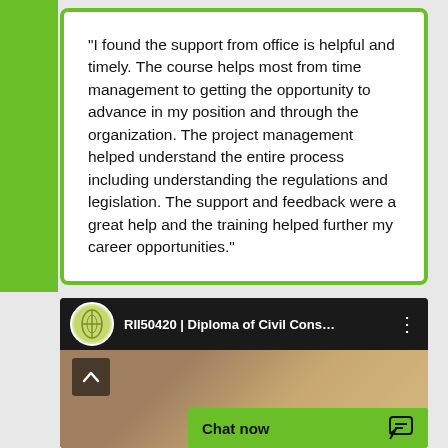“I found the support from office is helpful and timely. The course helps most from time management to getting the opportunity to advance in my position and through the organization. The project management helped understand the entire process including understanding the regulations and legislation. The support and feedback were a great help and the training helped further my career opportunities.”
[Figure (screenshot): Video thumbnail showing a YouTube-style video card for 'RII50420 | Diploma of Civil Cons...' with a channel logo, three-dot menu, a person visible in the lower portion, and a green 'Chat now' bar at the bottom right.]